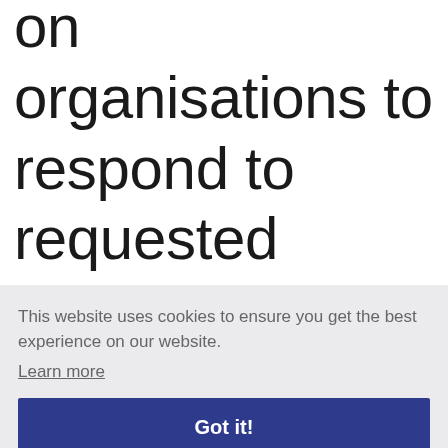on organisations to respond to requested information about their size from the [workers] [of their size] [clear] who is responsible
This website uses cookies to ensure you get the best experience on our website. Learn more
Got it!